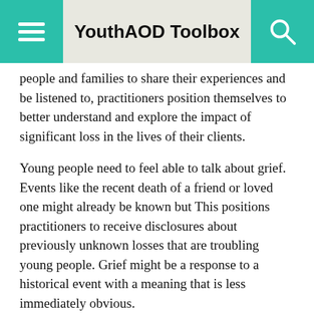YouthAOD Toolbox
people and families to share their experiences and be listened to, practitioners position themselves to better understand and explore the impact of significant loss in the lives of their clients.
Young people need to feel able to talk about grief. Events like the recent death of a friend or loved one might already be known but This positions practitioners to receive disclosures about previously unknown losses that are troubling young people. Grief might be a response to a historical event with a meaning that is less immediately obvious.
It is crucial to create the conditions in which young people feel comfortable to share their story. Formal settings where client and practitioner are meeting for the very first time, it is unlikely that young